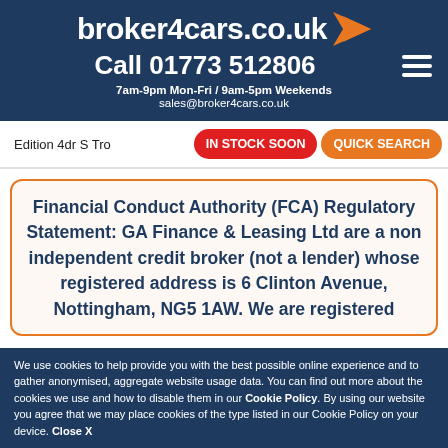broker4cars.co.uk
Call 01773 512806
7am-9pm Mon-Fri / 9am-5pm Weekends
sales@broker4cars.co.uk
Edition 4dr S Tro...
IN STOCK SOON
QUICK SEARCH
Financial Conduct Authority (FCA) Regulatory Statement: GA Finance & Leasing Ltd are a non independent credit broker (not a lender) whose registered address is 6 Clinton Avenue, Nottingham, NG5 1AW...
We use cookies to help provide you with the best possible online experience and to gather anonymised, aggregate website usage data. You can find out more about the cookies we use and how to disable them in our Cookie Policy. By using our website you agree that we may place cookies of the type listed in our Cookie Policy on your device. Close X